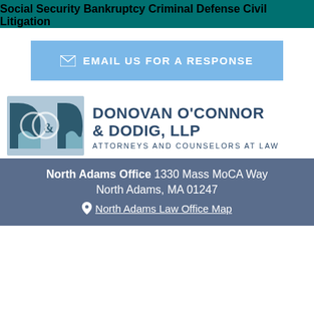Social Security
Bankruptcy
Criminal Defense
Civil Litigation
EMAIL US FOR A RESPONSE
[Figure (logo): Donovan O'Connor & Dodig, LLP logo with stylized D&D letters and mountain/water motif]
DONOVAN O'CONNOR & DODIG, LLP
ATTORNEYS AND COUNSELORS AT LAW
North Adams Office 1330 Mass MoCA Way
North Adams, MA 01247
North Adams Law Office Map